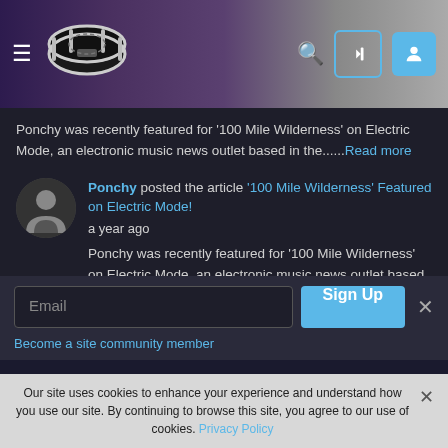[Figure (screenshot): Website header with hamburger menu, drum/snare logo, search icon, login button outline, and user profile button filled blue, on purple-grey gradient background]
Ponchy was recently featured for '100 Mile Wilderness' on Electric Mode, an electronic music news outlet based in the......Read more
Ponchy posted the article '100 Mile Wilderness' Featured on Electric Mode!
a year ago
Ponchy was recently featured for '100 Mile Wilderness' on Electric Mode, an electronic music news outlet based in the......Read more
Email
Sign Up
Become a site community member
Our site uses cookies to enhance your experience and understand how you use our site. By continuing to browse this site, you agree to our use of cookies. Privacy Policy